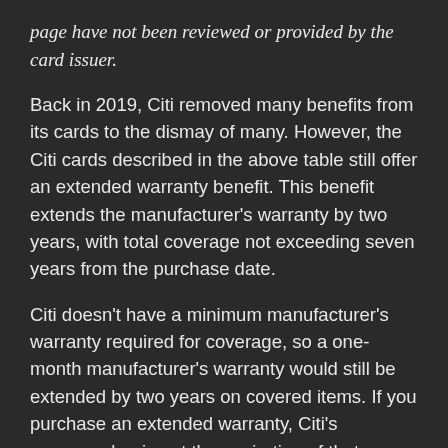page have not been reviewed or provided by the card issuer.
Back in 2019, Citi removed many benefits from its cards to the dismay of many. However, the Citi cards described in the above table still offer an extended warranty benefit. This benefit extends the manufacturer's warranty by two years, with total coverage not exceeding seven years from the purchase date.
Citi doesn't have a minimum manufacturer's warranty required for coverage, so a one-month manufacturer's warranty would still be extended by two years on covered items. If you purchase an extended warranty, Citi's coverage begins at the expiration of that warranty. To be eligible for coverage, you must have paid for either all or part of the item with your Citi card and/or ThankYou